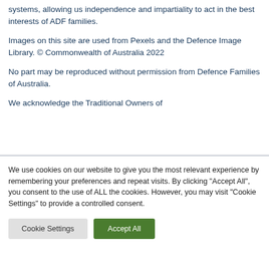systems, allowing us independence and impartiality to act in the best interests of ADF families.
Images on this site are used from Pexels and the Defence Image Library. © Commonwealth of Australia 2022
No part may be reproduced without permission from Defence Families of Australia.
We acknowledge the Traditional Owners of
We use cookies on our website to give you the most relevant experience by remembering your preferences and repeat visits. By clicking "Accept All", you consent to the use of ALL the cookies. However, you may visit "Cookie Settings" to provide a controlled consent.
Cookie Settings | Accept All